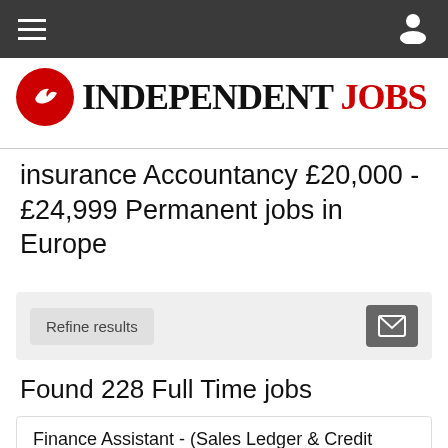Independent Jobs navigation bar
[Figure (logo): Independent Jobs logo with red circle eagle icon and bold serif text INDEPENDENT JOBS where JOBS is in red]
insurance Accountancy £20,000 - £24,999 Permanent jobs in Europe
Refine results
Found 228 Full Time jobs
Finance Assistant - (Sales Ledger & Credit